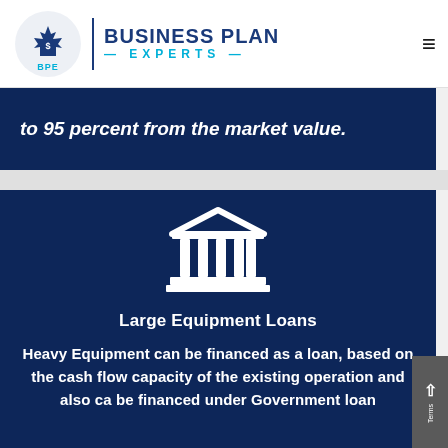[Figure (logo): Business Plan Experts logo with maple leaf icon, 'BPE' text in teal, vertical blue divider, and bold navy 'BUSINESS PLAN EXPERTS' text]
to 95 percent from the market value.
[Figure (illustration): White bank/institution icon (classical building with columns and triangular roof) on dark navy background]
Large Equipment Loans
Heavy Equipment can be financed as a loan, based on the cash flow capacity of the existing operation and also ca... be financed under Government loan